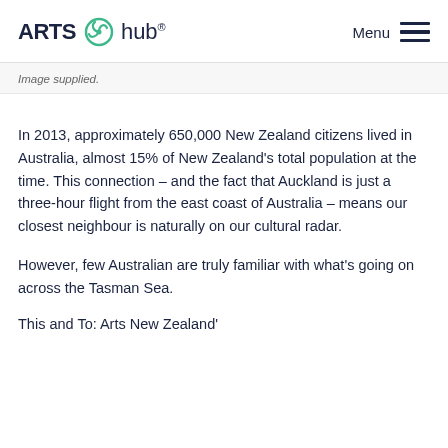ARTS hub Menu
Image supplied.
In 2013, approximately 650,000 New Zealand citizens lived in Australia, almost 15% of New Zealand's total population at the time. This connection – and the fact that Auckland is just a three-hour flight from the east coast of Australia – means our closest neighbour is naturally on our cultural radar.
However, few Australian are truly familiar with what's going on across the Tasman Sea.
This and To: Arts New Zealand's content...